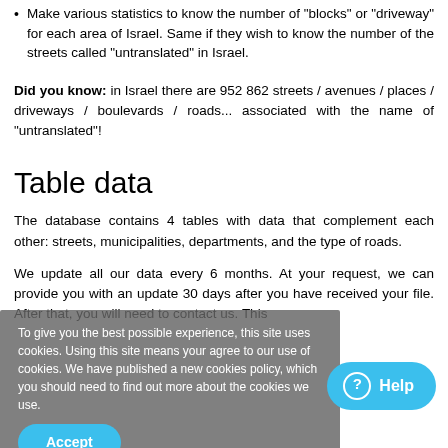Make various statistics to know the number of "blocks" or "driveway" for each area of Israel. Same if they wish to know the number of the streets called "untranslated" in Israel.
Did you know: in Israel there are 952 862 streets / avenues / places / driveways / boulevards / roads... associated with the name of "untranslated"!
Table data
The database contains 4 tables with data that complement each other: streets, municipalities, departments, and the type of roads.
We update all our data every 6 months. At your request, we can provide you with an update 30 days after you have received your file. After that, you will need to contact us. This
Table of streets in Israel
Iso: country code (INSEE code)
Country: country wording